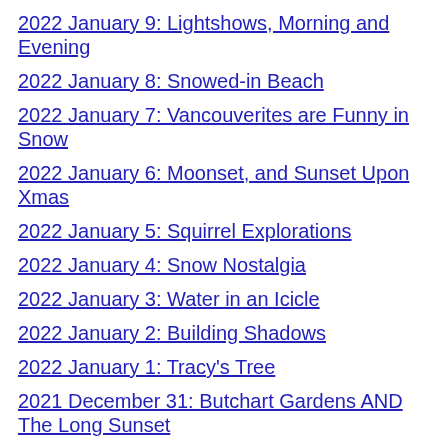2022 January 9: Lightshows, Morning and Evening
2022 January 8: Snowed-in Beach
2022 January 7: Vancouverites are Funny in Snow
2022 January 6: Moonset, and Sunset Upon Xmas
2022 January 5: Squirrel Explorations
2022 January 4: Snow Nostalgia
2022 January 3: Water in an Icicle
2022 January 2: Building Shadows
2022 January 1: Tracy's Tree
2021 December 31: Butchart Gardens AND The Long Sunset
2021 December 30: Interrupt Again With More Weather
2021 December 29: Butchart Gardens Light-Show I
2021 December 28: Weather Bulletin: Frozen Lagoon Snow
2021 December 27: ...